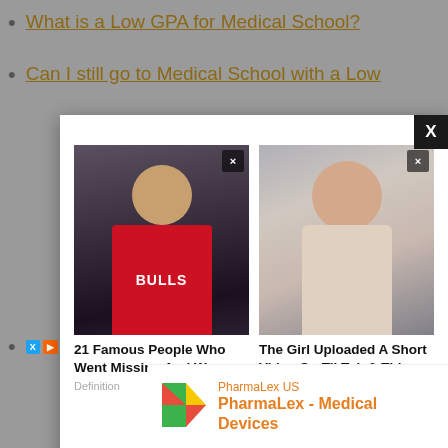What is a Low GPA for Medical School?
Can I still go to Medical School with a Low
[Figure (screenshot): Advertisement modal overlay showing two content cards: '21 Famous People Who Went Missing And We...' (Definition) and 'The Girl Uploaded A Short Video On TikTok & This...' (Appurse), with a close X button in top right corner]
[Figure (screenshot): Video player error message on black background: 'The media could not be loaded, either because the server or network failed or because the format is not supported.' with a large X icon]
[Figure (screenshot): PharmaLex US advertisement banner: PharmaLex - Medical Devices, with Open button]